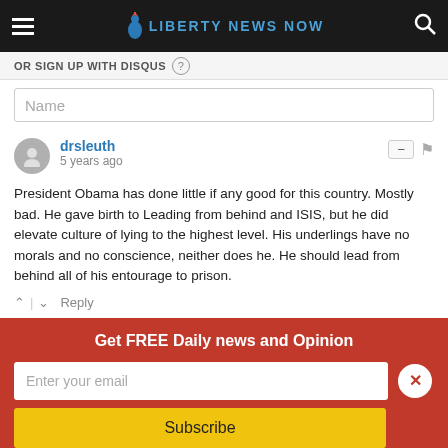Liberty News Now
OR SIGN UP WITH DISQUS
Name
drsleuth
5 years ago
President Obama has done little if any good for this country. Mostly bad. He gave birth to Leading from behind and ISIS, but he did elevate culture of lying to the highest level. His underlings have no morals and no conscience, neither does he. He should lead from behind all of his entourage to prison.
Reply
Get FREE Daily news and Opinion
Enter your email
Subscribe